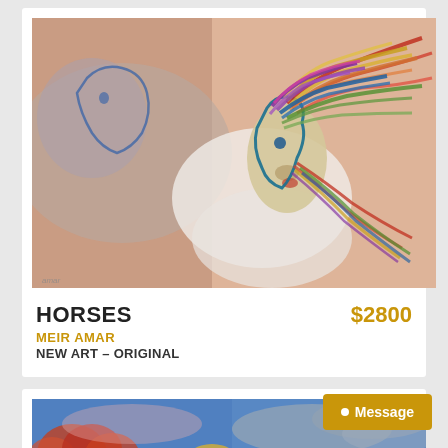[Figure (illustration): Colorful expressionist painting of horses with vibrant flowing manes in rainbow colors against a warm pinkish background]
HORSES
$2800
MEIR AMAR
NEW ART – ORIGINAL
[Figure (illustration): Colorful expressionist painting of Jerusalem cityscape with dome and trees under a blue sky]
Message